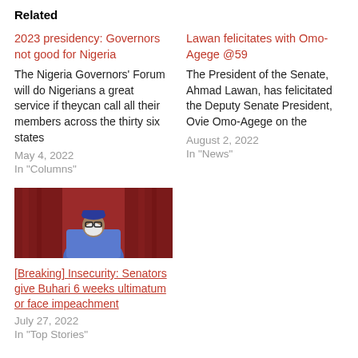Related
2023 presidency: Governors not good for Nigeria
The Nigeria Governors' Forum will do Nigerians a great service if theycan call all their members across the thirty six states
May 4, 2022
In "Columns"
Lawan felicitates with Omo-Agege @59
The President of the Senate, Ahmad Lawan, has felicitated the Deputy Senate President, Ovie Omo-Agege on the
August 2, 2022
In "News"
[Figure (photo): Photo of a person wearing a blue traditional outfit and white face mask, in front of a red curtain background]
[Breaking] Insecurity: Senators give Buhari 6 weeks ultimatum or face impeachment
July 27, 2022
In "Top Stories"